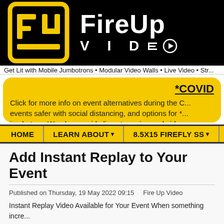[Figure (logo): FireUp Video logo: yellow FU icon on black background with 'FireUp VIDEO' text in white]
Get Lit with Mobile Jumbotrons • Modular Video Walls • Live Video • Str...
*COVID
Click for more info on event alternatives during the C... events safer with social distancing, and options for *... jumbotron. We also provide live streaming and video...
HOME  LEARN ABOUT ▾  8.5X15 FIREFLY SS ▾
Add Instant Replay to Your Event
Published on Thursday, 19 May 2022 09:15    Fire Up Video
Instant Replay Video Available for Your Event When something incre...